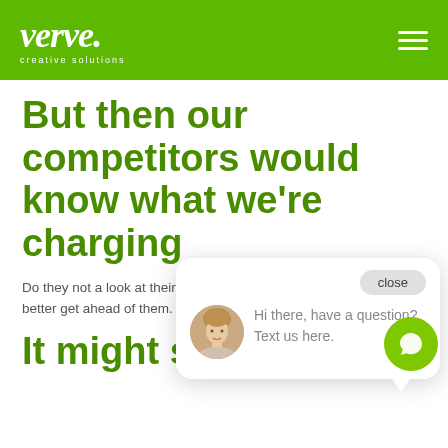Verve. creative solutions
But then our competitors would know what we're charging
Do they not a look at their w so, you better get ahead of them.
[Figure (screenshot): Chat popup widget with woman avatar, close button, and message: Hi there, have a question? Text us here.]
It might scare away